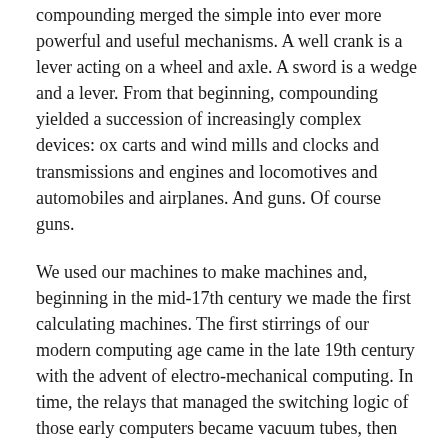compounding merged the simple into ever more powerful and useful mechanisms. A well crank is a lever acting on a wheel and axle. A sword is a wedge and a lever. From that beginning, compounding yielded a succession of increasingly complex devices: ox carts and wind mills and clocks and transmissions and engines and locomotives and automobiles and airplanes. And guns. Of course guns.
We used our machines to make machines and, beginning in the mid-17th century we made the first calculating machines. The first stirrings of our modern computing age came in the late 19th century with the advent of electro-mechanical computing. In time, the relays that managed the switching logic of those early computers became vacuum tubes, then transistors, then integrated circuits, then the vastly complex chips that power our lives now. Somewhere in all that growth, what started out as a quest for mechanical advantage became a search for ever better means of achieving intellectual advantage—another kind of l...